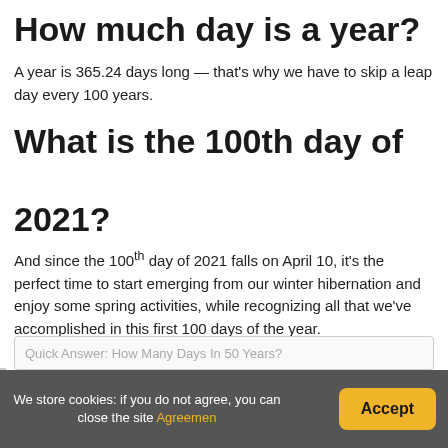How much day is a year?
A year is 365.24 days long — that's why we have to skip a leap day every 100 years.
What is the 100th day of 2021?
And since the 100th day of 2021 falls on April 10, it's the perfect time to start emerging from our winter hibernation and enjoy some spring activities, while recognizing all that we've accomplished in this first 100 days of the year.
Quick Answer: How Many Days In 50 Years?
We store cookies: if you do not agree, you can close the site Agreemen